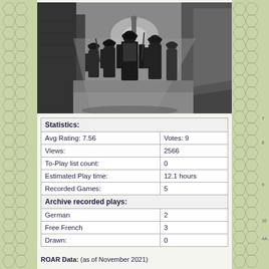[Figure (photo): Black and white historical photo of soldiers advancing down a narrow street flanked by damaged walls, viewed from behind.]
| Statistics: |  |
| Avg Rating: 7.56 | Votes: 9 |
| Views: | 2566 |
| To-Play list count: | 0 |
| Estimated Play time: | 12.1 hours |
| Recorded Games: | 5 |
| Archive recorded plays: |  |
| German | 2 |
| Free French | 3 |
| Drawn: | 0 |
ROAR Data: (as of November 2021)